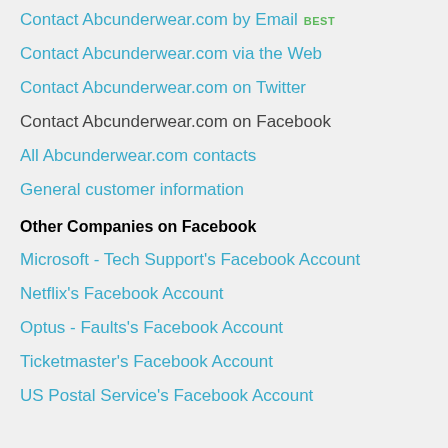Contact Abcunderwear.com by Email BEST
Contact Abcunderwear.com via the Web
Contact Abcunderwear.com on Twitter
Contact Abcunderwear.com on Facebook
All Abcunderwear.com contacts
General customer information
Other Companies on Facebook
Microsoft - Tech Support's Facebook Account
Netflix's Facebook Account
Optus - Faults's Facebook Account
Ticketmaster's Facebook Account
US Postal Service's Facebook Account